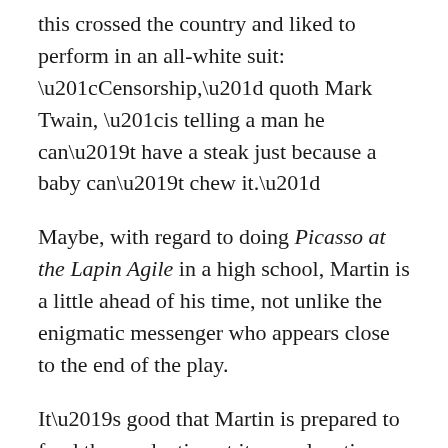this crossed the country and liked to perform in an all-white suit: “Censorship,” quoth Mark Twain, “is telling a man he can’t have a steak just because a baby can’t chew it.”
Maybe, with regard to doing Picasso at the Lapin Agile in a high school, Martin is a little ahead of his time, not unlike the enigmatic messenger who appears close to the end of the play.
It’s good that Martin is prepared to fund the production at its new location, anyway. That way, like that aforementioned messenger, he’ll be ready to deliver his funny, insightful message to those who’re open to receive it.
On a side note, while there’s sadly no video of our performance other than a scene we did for the